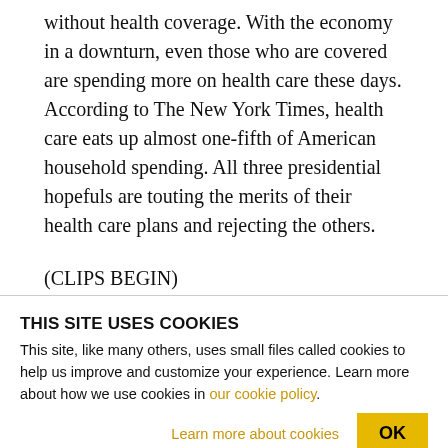without health coverage. With the economy in a downturn, even those who are covered are spending more on health care these days. According to The New York Times, health care eats up almost one-fifth of American household spending. All three presidential hopefuls are touting the merits of their health care plans and rejecting the others.
(CLIPS BEGIN)
THIS SITE USES COOKIES
This site, like many others, uses small files called cookies to help us improve and customize your experience. Learn more about how we use cookies in our cookie policy.
Learn more about cookies   OK